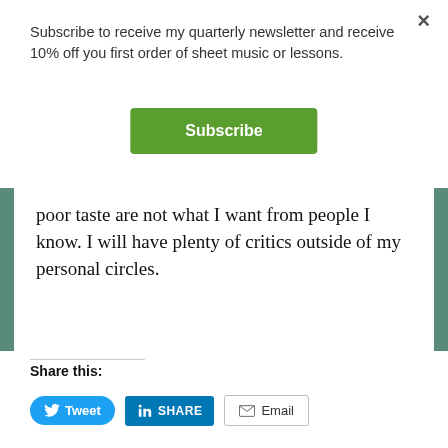Subscribe to receive my quarterly newsletter and receive 10% off you first order of sheet music or lessons.
Subscribe
poor taste are not what I want from people I know. I will have plenty of critics outside of my personal circles.
Share this:
Tweet
SHARE
Email